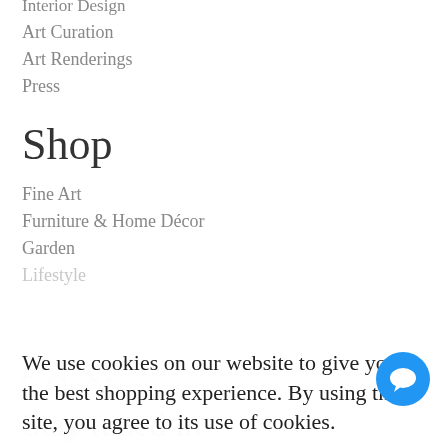Interior Design
Art Curation
Art Renderings
Press
Shop
Fine Art
Furniture & Home Décor
Garden
Lifestyle
We use cookies on our website to give you the best shopping experience. By using this site, you agree to its use of cookies.
I agree
Stay tuned in